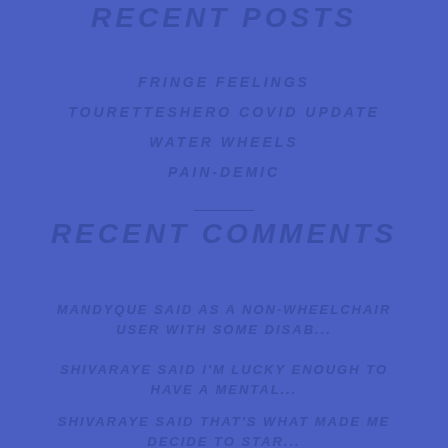RECENT POSTS
FRINGE FEELINGS
TOURETTESHERO COVID UPDATE
WATER WHEELS
PAIN-DEMIC
RECENT COMMENTS
MANDYQUE SAID AS A NON-WHEELCHAIR USER WITH SOME DISAB...
SHIVARAYE SAID I'M LUCKY ENOUGH TO HAVE A MENTAL...
SHIVARAYE SAID THAT'S WHAT MADE ME DECIDE TO STAR...